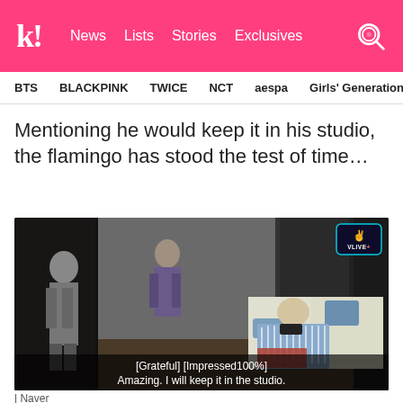k! News  Lists  Stories  Exclusives
BTS
BLACKPINK
TWICE
NCT
aespa
Girls' Generation
Mentioning he would keep it in his studio, the flamingo has stood the test of time…
[Figure (screenshot): Video screenshot from VLIVE+ showing people in a room with beds, subtitles '[Grateful] [Impressed100%] Amazing. I will keep it in the studio.']
| Naver